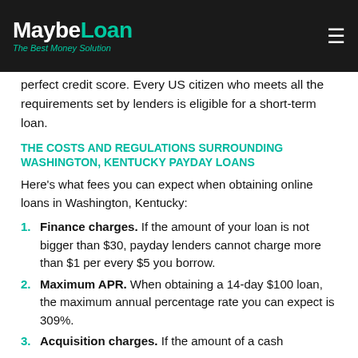MaybeLoan – The Best Money Solution
perfect credit score. Every US citizen who meets all the requirements set by lenders is eligible for a short-term loan.
THE COSTS AND REGULATIONS SURROUNDING WASHINGTON, KENTUCKY PAYDAY LOANS
Here's what fees you can expect when obtaining online loans in Washington, Kentucky:
Finance charges. If the amount of your loan is not bigger than $30, payday lenders cannot charge more than $1 per every $5 you borrow.
Maximum APR. When obtaining a 14-day $100 loan, the maximum annual percentage rate you can expect is 309%.
Acquisition charges. If the amount of a cash